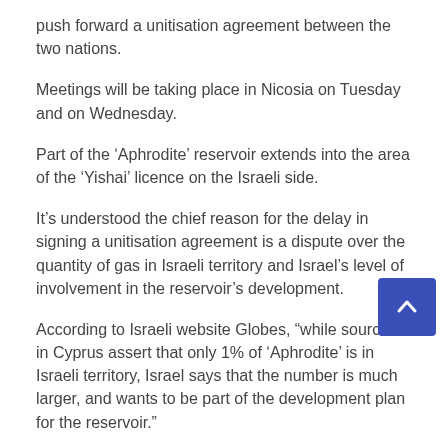push forward a unitisation agreement between the two nations.
Meetings will be taking place in Nicosia on Tuesday and on Wednesday.
Part of the ‘Aphrodite’ reservoir extends into the area of the ‘Yishai’ licence on the Israeli side.
It’s understood the chief reason for the delay in signing a unitisation agreement is a dispute over the quantity of gas in Israeli territory and Israel’s level of involvement in the reservoir’s development.
According to Israeli website Globes, “while sources in Cyprus assert that only 1% of ‘Aphrodite’ is in Israeli territory, Israel says that the number is much larger, and wants to be part of the development plan for the reservoir.”
It’s understood that it was beneficial to the ‘Yishai’...